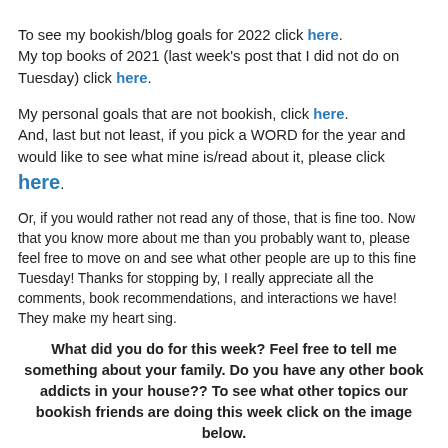To see my bookish/blog goals for 2022 click here. My top books of 2021 (last week's post that I did not do on Tuesday) click here.
My personal goals that are not bookish, click here. And, last but not least, if you pick a WORD for the year and would like to see what mine is/read about it, please click here.
Or, if you would rather not read any of those, that is fine too. Now that you know more about me than you probably want to, please feel free to move on and see what other people are up to this fine Tuesday! Thanks for stopping by, I really appreciate all the comments, book recommendations, and interactions we have! They make my heart sing.
What did you do for this week? Feel free to tell me something about your family. Do you have any other book addicts in your house?? To see what other topics our bookish friends are doing this week click on the image below.
[Figure (logo): Top Ten Tuesday logo with snowflakes and red text reading 'top ten' and black bar below]